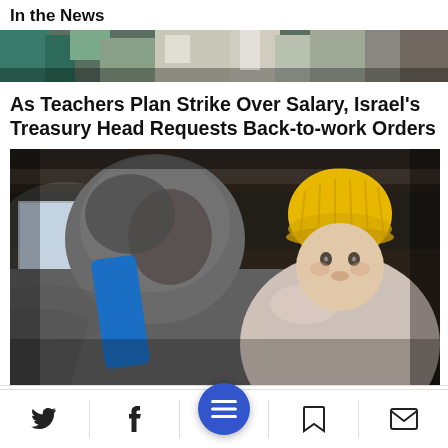In the News
[Figure (photo): Narrow top photo strip showing people's feet and clothing, appears to be a crowd scene]
As Teachers Plan Strike Over Salary, Israel's Treasury Head Requests Back-to-work Orders
[Figure (photo): A woman in a grey hooded jacket holding a baby wearing a yellow knit hat, the baby looks at the camera, dark background]
The Fellowship: Fast response to the Ukraine crisis